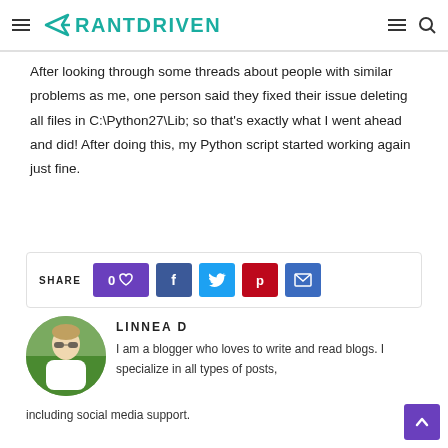RANTDRIVEN
After looking through some threads about people with similar problems as me, one person said they fixed their issue deleting all files in C:\Python27\Lib; so that's exactly what I went ahead and did! After doing this, my Python script started working again just fine.
[Figure (infographic): Share bar with like count (0), Facebook, Twitter, Pinterest, and email share buttons]
[Figure (photo): Circular avatar photo of author Linnea D, a woman outdoors]
LINNEA D
I am a blogger who loves to write and read blogs. I specialize in all types of posts, including social media support.